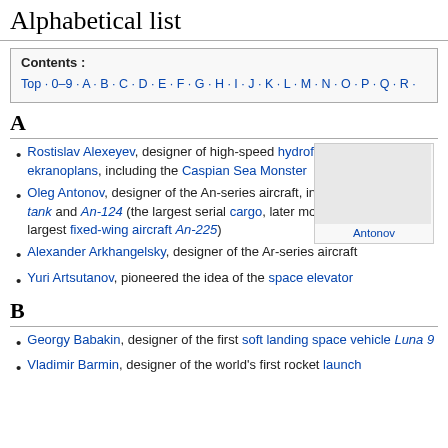Alphabetical list
Contents : Top · 0–9 · A · B · C · D · E · F · G · H · I · J · K · L · M · N · O · P · Q · R ·
A
Rostislav Alexeyev, designer of high-speed hydrofoils (raketa) and ekranoplans, including the Caspian Sea Monster
Oleg Antonov, designer of the An-series aircraft, including A-40 winged tank and An-124 (the largest serial cargo, later modified to world's largest fixed-wing aircraft An-225)
Alexander Arkhangelsky, designer of the Ar-series aircraft
Yuri Artsutanov, pioneered the idea of the space elevator
B
Georgy Babakin, designer of the first soft landing space vehicle Luna 9
Vladimir Barmin, designer of the world's first rocket launch